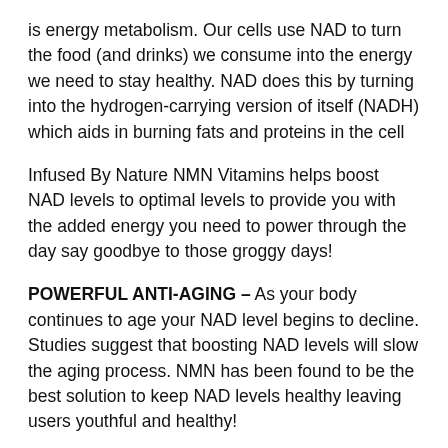is energy metabolism. Our cells use NAD to turn the food (and drinks) we consume into the energy we need to stay healthy. NAD does this by turning into the hydrogen-carrying version of itself (NADH) which aids in burning fats and proteins in the cell
Infused By Nature NMN Vitamins helps boost NAD levels to optimal levels to provide you with the added energy you need to power through the day say goodbye to those groggy days!
POWERFUL ANTI-AGING – As your body continues to age your NAD level begins to decline. Studies suggest that boosting NAD levels will slow the aging process. NMN has been found to be the best solution to keep NAD levels healthy leaving users youthful and healthy!
IMMUNE SUPPORT - Supplementing NMN helps regulate and maintain your bodies everyday functions. These functions include cell repair and immune defence.
BOOST NAD LEVELS - Stay healthy and fit with the benefits of